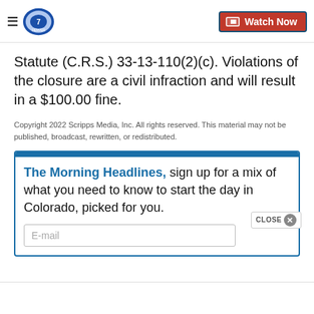Denver7 - Watch Now
Statute (C.R.S.) 33-13-110(2)(c). Violations of the closure are a civil infraction and will result in a $100.00 fine.
Copyright 2022 Scripps Media, Inc. All rights reserved. This material may not be published, broadcast, rewritten, or redistributed.
The Morning Headlines, sign up for a mix of what you need to know to start the day in Colorado, picked for you.